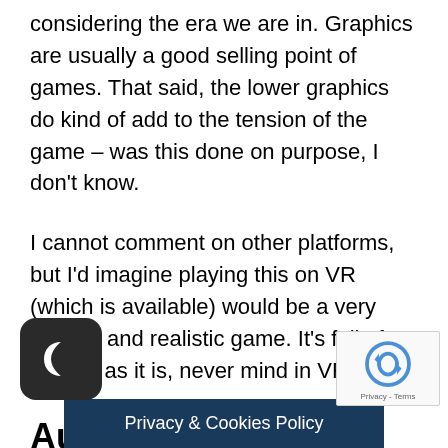considering the era we are in. Graphics are usually a good selling point of games. That said, the lower graphics do kind of add to the tension of the game – was this done on purpose, I don't know.
I cannot comment on other platforms, but I'd imagine playing this on VR (which is available) would be a very intense and realistic game. It's full of shocks as it is, never mind in VR!
Audio
There is a great contrast between the sound effects and music, along with the eerie darkness to give you a constant feeling of uncertainty, in a good way. I don't want to put your...ant to
Privacy & Cookies Policy